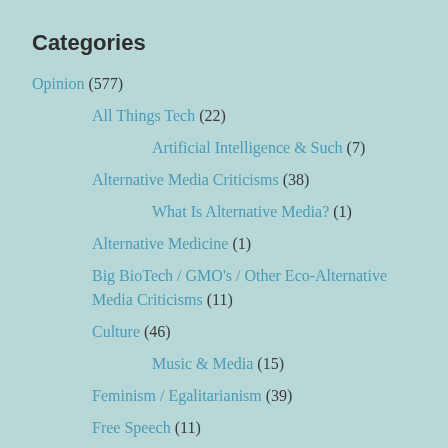Categories
Opinion (577)
All Things Tech (22)
Artificial Intelligence & Such (7)
Alternative Media Criticisms (38)
What Is Alternative Media? (1)
Alternative Medicine (1)
Big BioTech / GMO's / Other Eco-Alternative Media Criticisms (11)
Culture (46)
Music & Media (15)
Feminism / Egalitarianism (39)
Free Speech (11)